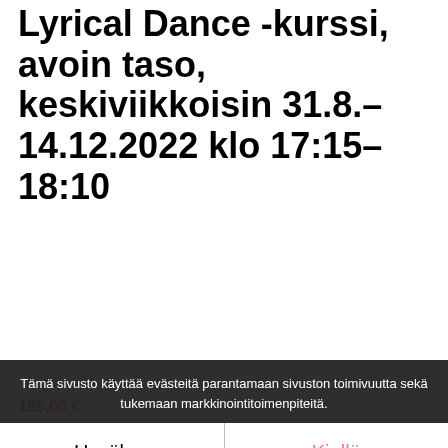Lyrical Dance -kurssi, avoin taso, keskiviikkoisin 31.8.–14.12.2022 klo 17:15–18:10
185,00 €
Tämä sivusto käyttää evästeitä parantamaan sivuston toimivuutta sekä tukemaan markkinointitoimenpiteitä.
Hyväksy | Kiellä | Asetukset
Kurssin tunnit pidetään Kauhankadun Flamassa (Rauhankatu 15, Turku) keskiviikkoisin 31.8.–14.12.2022
Kurssimaksu sisältää 14 tuntia. Tunteja ei pidetä 19.10.2022.
Taso: avoin taso